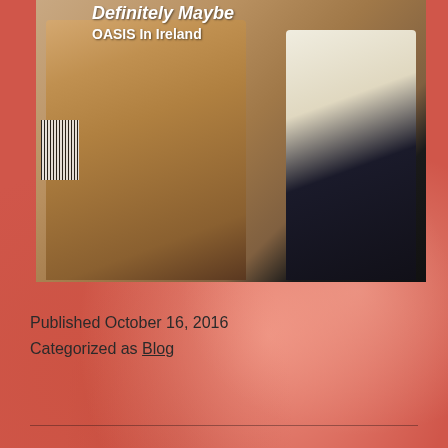[Figure (photo): Magazine cover photo showing two people. Left figure in a beige/tan jacket, right figure in dark pants and light top. A barcode is visible on the left edge. Text overlay at top reads 'Definitely Maybe' and 'OASIS In Ireland'.]
Published October 16, 2016
Categorized as Blog